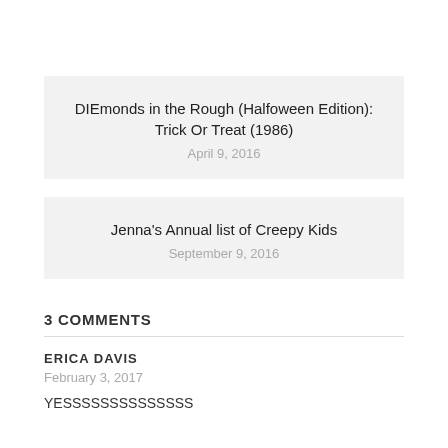DIEmonds in the Rough (Halfoween Edition): Trick Or Treat (1986)
April 9, 2016
Jenna's Annual list of Creepy Kids
September 9, 2016
3 COMMENTS
ERICA DAVIS
February 3, 2017
YESSSSSSSSSSSSSS